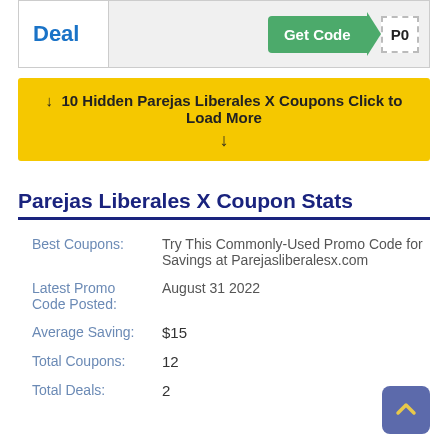[Figure (other): Coupon deal row with 'Deal' label, 'Get Code' green button, and a dashed code tag showing 'P0']
↓  10 Hidden Parejas Liberales X Coupons Click to Load More  ↓
Parejas Liberales X Coupon Stats
| Best Coupons: | Try This Commonly-Used Promo Code for Savings at Parejasliberalesx.com |
| Latest Promo Code Posted: | August 31 2022 |
| Average Saving: | $15 |
| Total Coupons: | 12 |
| Total Deals: | 2 |